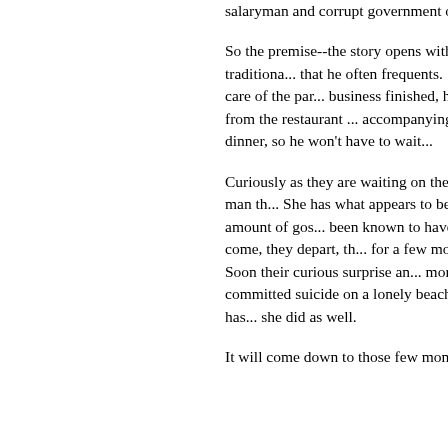salaryman and corrupt government offi...
So the premise--the story opens with a b... dinner with two colleagues in a traditiona... that he often frequents.  He is a regular c... waitress who often takes care of the par... business finished, he will return home th... talks two waitresses from the restaurant ... accompanying him to the train station the... of a free dinner, so he won't have to wait...
Curiously as they are waiting on the trai... waitress boarding the train with a man th... She has what appears to be a lover?  Of... much surprise and no little amount of gos... been known to have a boyfriend, they mu... better look.  Trains come, they depart, th... for a few moments in between departure... coworker.  Soon their curious surprise an... mortification when they discover their frie... committed suicide on a lonely beach far ... Unexpected it may be, but everyone has... she did as well.
It will come down to those few moments...